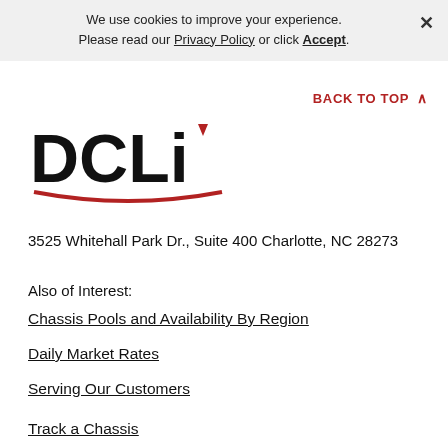We use cookies to improve your experience. Please read our Privacy Policy or click Accept.
BACK TO TOP
[Figure (logo): DCLI company logo with bold black letters and red accent]
3525 Whitehall Park Dr., Suite 400 Charlotte, NC 28273
Also of Interest:
Chassis Pools and Availability By Region
Daily Market Rates
Serving Our Customers
Track a Chassis
Request Road Service
FAQs